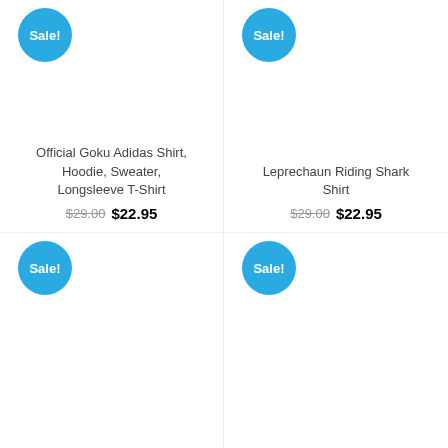[Figure (other): Sale badge circle (blue) - top left product]
Official Goku Adidas Shirt, Hoodie, Sweater, Longsleeve T-Shirt
$29.00  $22.95
[Figure (other): Sale badge circle (blue) - top right product]
Leprechaun Riding Shark Shirt
$29.00  $22.95
[Figure (other): Sale badge circle (blue) - bottom left product]
[Figure (other): Sale badge circle (blue) - bottom right product]